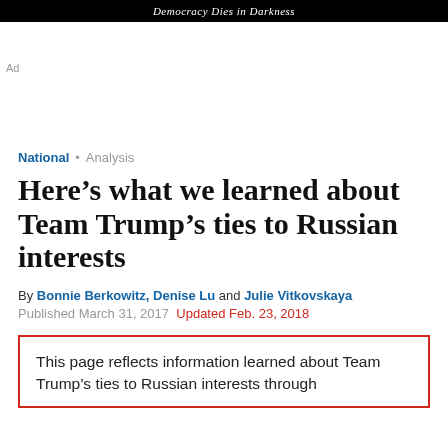Democracy Dies in Darkness
Ad
National • Analysis
Here's what we learned about Team Trump's ties to Russian interests
By Bonnie Berkowitz, Denise Lu and Julie Vitkovskaya
Published March 31, 2017 Updated Feb. 23, 2018
This page reflects information learned about Team Trump's ties to Russian interests through